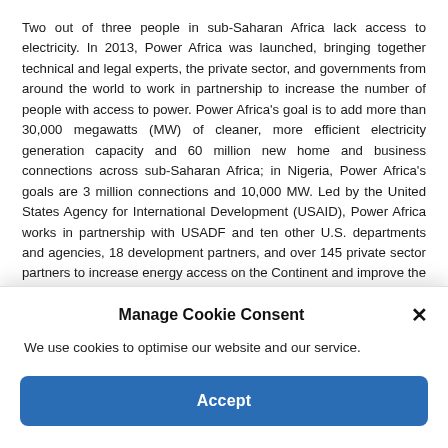Two out of three people in sub-Saharan Africa lack access to electricity. In 2013, Power Africa was launched, bringing together technical and legal experts, the private sector, and governments from around the world to work in partnership to increase the number of people with access to power. Power Africa's goal is to add more than 30,000 megawatts (MW) of cleaner, more efficient electricity generation capacity and 60 million new home and business connections across sub-Saharan Africa; in Nigeria, Power Africa's goals are 3 million connections and 10,000 MW. Led by the United States Agency for International Development (USAID), Power Africa works in partnership with USADF and ten other U.S. departments and agencies, 18 development partners, and over 145 private sector partners to increase energy access on the Continent and improve the lives of millions. For more information, please visit Power Africa website at: www.usaid.gov/PowerAfrica.
Manage Cookie Consent
We use cookies to optimise our website and our service.
Accept